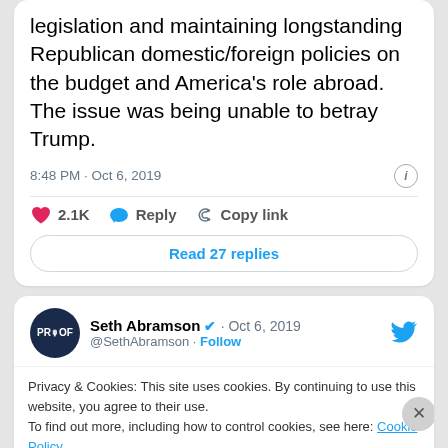legislation and maintaining longstanding Republican domestic/foreign policies on the budget and America's role abroad. The issue was being unable to betray Trump.
8:48 PM · Oct 6, 2019
2.1K  Reply  Copy link
Read 27 replies
Seth Abramson · Oct 6, 2019
@SethAbramson · Follow
Privacy & Cookies: This site uses cookies. By continuing to use this website, you agree to their use.
To find out more, including how to control cookies, see here: Cookie Policy
Close and accept